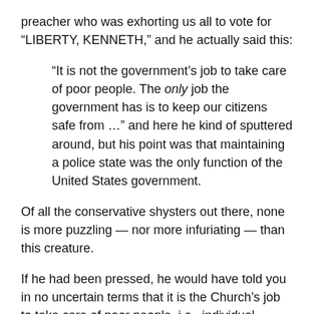preacher who was exhorting us all to vote for “LIBERTY, KENNETH,” and he actually said this:
“It is not the government’s job to take care of poor people. The only job the government has is to keep our citizens safe from …” and here he kind of sputtered around, but his point was that maintaining a police state was the only function of the United States government.
Of all the conservative shysters out there, none is more puzzling — nor more infuriating — than this creature.
If he had been pressed, he would have told you in no uncertain terms that it is the Church’s job to take care of poor people, i.e., individual charity, not some nefarious government agency. As far as he is concerned, this is a “one